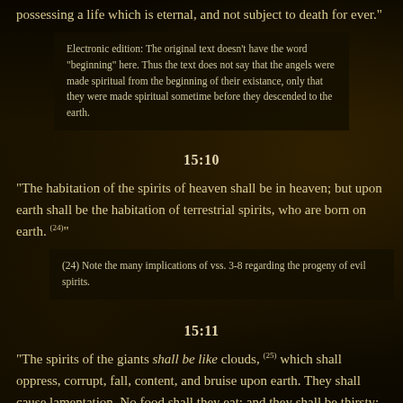possessing a life which is eternal, and not subject to death for ever."
Electronic edition: The original text doesn't have the word "beginning" here. Thus the text does not say that the angels were made spiritual from the beginning of their existance, only that they were made spiritual sometime before they descended to the earth.
15:10
"The habitation of the spirits of heaven shall be in heaven; but upon earth shall be the habitation of terrestrial spirits, who are born on earth. (24)"
(24) Note the many implications of vss. 3-8 regarding the progeny of evil spirits.
15:11
"The spirits of the giants shall be like clouds, (25) which shall oppress, corrupt, fall, content, and bruise upon earth. They shall cause lamentation. No food shall they eat; and they shall be thirsty; they shall be concealed, and shall not (26) rise up against the sons of men, and against women; for